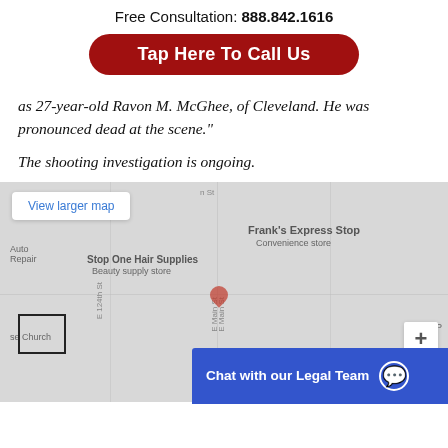Free Consultation: 888.842.1616
Tap Here To Call Us
as 27-year-old Ravon M. McGhee, of Cleveland. He was pronounced dead at the scene."
The shooting investigation is ongoing.
[Figure (map): Google Maps embed showing the area around E. Main St and E. 124th St in Cleveland, with business labels including Frank's Express Stop (Convenience store), Stop One Hair Supplies (Beauty supply store). A red location pin is visible in the center. A 'View larger map' button appears in the upper left corner. A zoom-in '+' button appears in the lower right. A rectangle map thumbnail appears in the lower left.]
Chat with our Legal Team